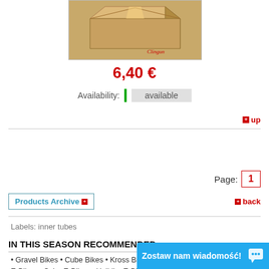[Figure (photo): Product photo showing a cardboard box/package with Clingun watermark text in red italic]
6,40 €
Availability: available
+ up
Page: 1
Products Archive +
+ back
Labels: inner tubes
IN THIS SEASON RECOMMENDED
• Gravel Bikes • Cube Bikes • Kross Bikes • Trekking Bikes • Road Bikes • E-Bikes • Cube E-Bikes • Haibike E-Bikes • Bicycle Trainers • Fjord Nansen Tents • Fjord Nansen Sleeping bags • The Nort... • Giant Bikes • Jack Wolfskin Ba...